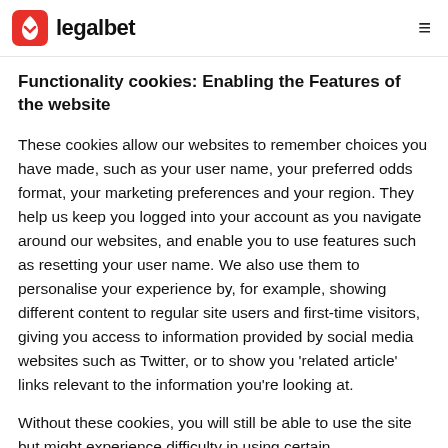legalbet
Functionality cookies: Enabling the Features of the website
These cookies allow our websites to remember choices you have made, such as your user name, your preferred odds format, your marketing preferences and your region. They help us keep you logged into your account as you navigate around our websites, and enable you to use features such as resetting your user name. We also use them to personalise your experience by, for example, showing different content to regular site users and first-time visitors, giving you access to information provided by social media websites such as Twitter, or to show you 'related article' links relevant to the information you're looking at.
Without these cookies, you will still be able to use the site but might experience difficulty in using certain